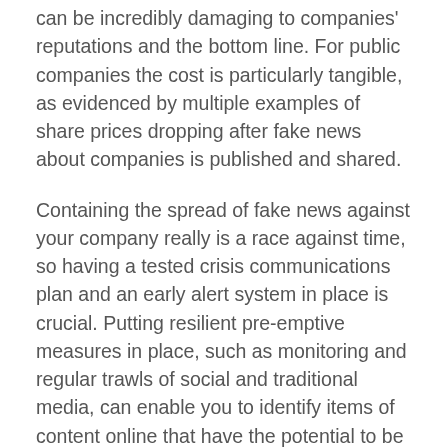can be incredibly damaging to companies' reputations and the bottom line. For public companies the cost is particularly tangible, as evidenced by multiple examples of share prices dropping after fake news about companies is published and shared.
Containing the spread of fake news against your company really is a race against time, so having a tested crisis communications plan and an early alert system in place is crucial. Putting resilient pre-emptive measures in place, such as monitoring and regular trawls of social and traditional media, can enable you to identify items of content online that have the potential to be stitched together to create a false and harmful narrative.